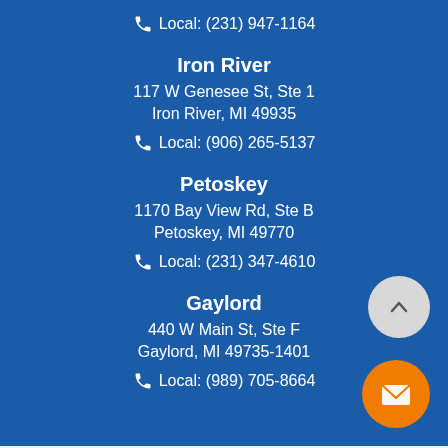Local: (231) 947-1164
Iron River
117 W Genesee St, Ste 1
Iron River, MI 49935
Local: (906) 265-5137
Petoskey
1170 Bay View Rd, Ste B
Petoskey, MI 49770
Local: (231) 347-4610
Gaylord
440 W Main St, Ste F
Gaylord, MI 49735-1401
Local: (989) 705-8664